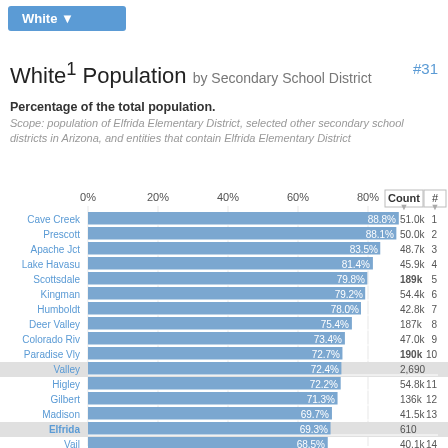White¹ Population by Secondary School District #31
Percentage of the total population.
Scope: population of Elfrida Elementary District, selected other secondary school districts in Arizona, and entities that contain Elfrida Elementary District
[Figure (bar-chart): White Population by Secondary School District]